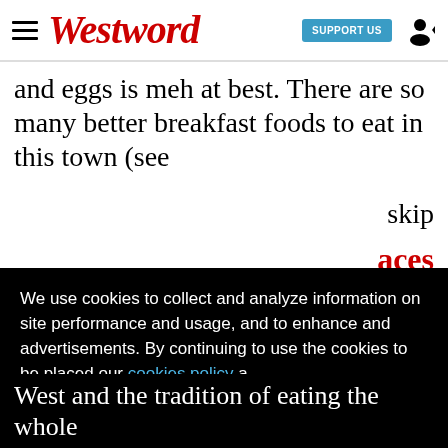Westword — SUPPORT US
and eggs is meh at best. There are so many better breakfast foods to eat in this town (see
skip
aces
We use cookies to collect and analyze information on site performance and usage, and to enhance and advertisements. By continuing to use the cookies to be placed our cookies policy a
Got it!
bull rican
West and the tradition of eating the whole